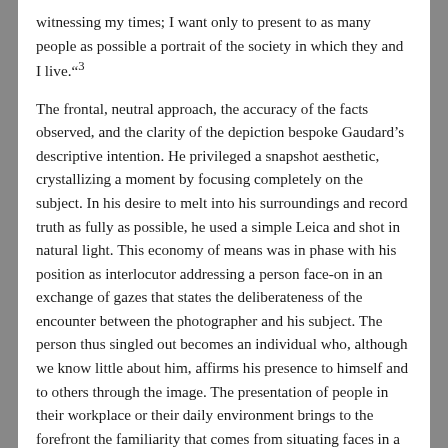witnessing my times; I want only to present to as many people as possible a portrait of the society in which they and I live."3
The frontal, neutral approach, the accuracy of the facts observed, and the clarity of the depiction bespoke Gaudard's descriptive intention. He privileged a snapshot aesthetic, crystallizing a moment by focusing completely on the subject. In his desire to melt into his surroundings and record truth as fully as possible, he used a simple Leica and shot in natural light. This economy of means was in phase with his position as interlocutor addressing a person face-on in an exchange of gazes that states the deliberateness of the encounter between the photographer and his subject. The person thus singled out becomes an individual who, although we know little about him, affirms his presence to himself and to others through the image. The presentation of people in their workplace or their daily environment brings to the forefront the familiarity that comes from situating faces in a context swept by a